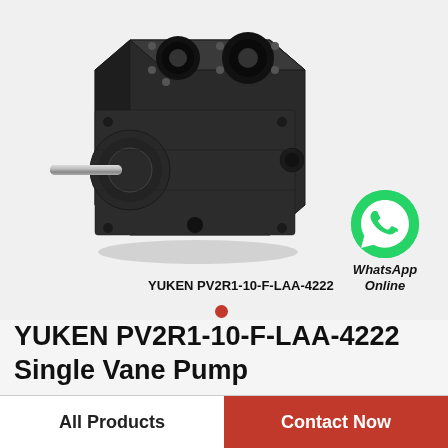[Figure (photo): YUKEN PV2R1-10-F-LAA-4222 single vane hydraulic pump, black metal body with shaft protruding from the left side, top view showing port holes]
YUKEN PV2R1-10-F-LAA-4222
[Figure (logo): WhatsApp green circle icon with phone handset, labeled WhatsApp Online]
YUKEN PV2R1-10-F-LAA-4222 Single Vane Pump
All Products
Contact Now